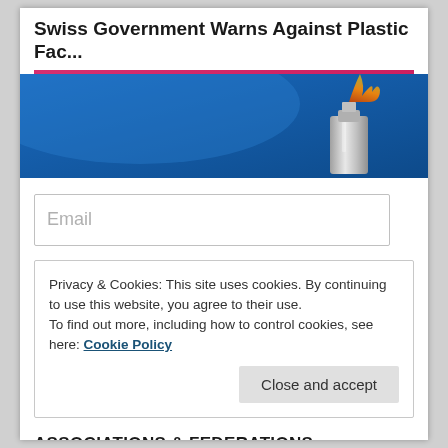Swiss Government Warns Against Plastic Fac...
[Figure (photo): Hero image with blue background showing what appears to be a metallic bottle or lighter object on a blue background]
Email
Privacy & Cookies: This site uses cookies. By continuing to use this website, you agree to their use.
To find out more, including how to control cookies, see here: Cookie Policy
Close and accept
ASSOCIATIONS & FEDERATIONS
[Figure (photo): Two thumbnail images showing hands or people, partially visible at the bottom of the page]